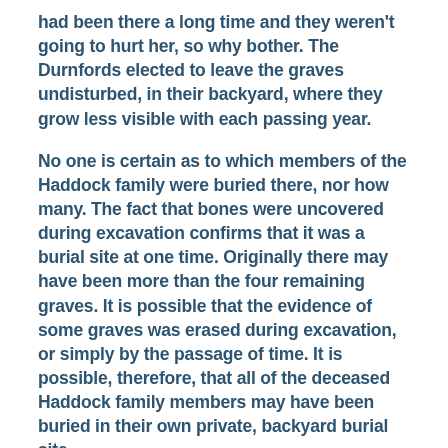had been there a long time and they weren't going to hurt her, so why bother. The Durnfords elected to leave the graves undisturbed, in their backyard, where they grow less visible with each passing year.
No one is certain as to which members of the Haddock family were buried there, nor how many. The fact that bones were uncovered during excavation confirms that it was a burial site at one time. Originally there may have been more than the four remaining graves. It is possible that the evidence of some graves was erased during excavation, or simply by the passage of time. It is possible, therefore, that all of the deceased Haddock family members may have been buried in their own private, backyard burial site.
While much information about the Haddock family is gathered from stories handed down through several generations, it is largely supported by official documents. There are still some uncertainties and